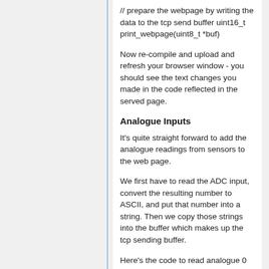// prepare the webpage by writing the data to the tcp send buffer uint16_t print_webpage(uint8_t *buf)
Now re-compile and upload and refresh your browser window - you should see the text changes you made in the code reflected in the served page.
Analogue Inputs
It's quite straight forward to add the analogue readings from sensors to the web page.
We first have to read the ADC input, convert the resulting number to ASCII, and put that number into a string. Then we copy those strings into the buffer which makes up the tcp sending buffer.
Here's the code to read analogue 0